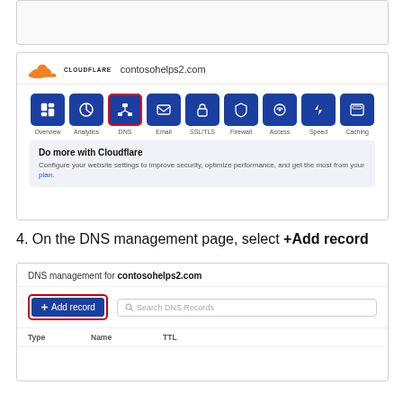[Figure (screenshot): Top portion of a previous screenshot (gray/white area partially visible)]
3. On the Overview page for your domain, select DNS.
[Figure (screenshot): Cloudflare dashboard screenshot showing the domain contosohelps2.com with navigation icons for Overview, Analytics, DNS (highlighted with red border), Email, SSL/TLS, Firewall, Access, Speed, Caching. Below is a promo panel 'Do more with Cloudflare'.]
4. On the DNS management page, select +Add record
[Figure (screenshot): DNS management for contosohelps2.com with a blue '+Add record' button (highlighted with red border) and a Search DNS Records input field.]